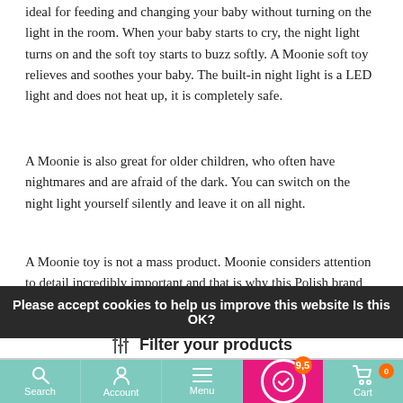ideal for feeding and changing your baby without turning on the light in the room. When your baby starts to cry, the night light turns on and the soft toy starts to buzz softly. A Moonie soft toy relieves and soothes your baby. The built-in night light is a LED light and does not heat up, it is completely safe.
A Moonie is also great for older children, who often have nightmares and are afraid of the dark. You can switch on the night light yourself silently and leave it on all night.
A Moonie toy is not a mass product. Moonie considers attention to detail incredibly important and that is why this Polish brand produces the Moonie plush toys in-house in Europe. Each Moonie plush is sewn in their own studio in Poland. This enables Moonie to ensure that every Moonie
Please accept cookies to help us improve this website Is this OK?
Filter your products
Search  Account  Menu  [Rating 9.5]  Cart 0